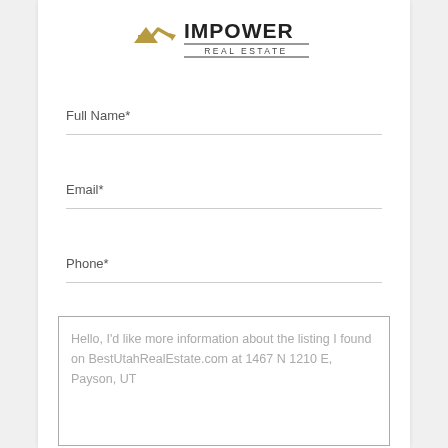[Figure (logo): IMpower Real Estate logo with stylized M/house icon and text]
Full Name*
Email*
Phone*
Hello, I'd like more information about the listing I found on BestUtahRealEstate.com at 1467 N 1210 E, Payson, UT